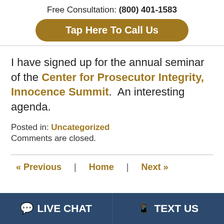Free Consultation: (800) 401-1583
[Figure (other): Golden rounded button reading 'Tap Here To Call Us']
I have signed up for the annual seminar of the Center for Prosecutor Integrity, Innocence Summit.  An interesting agenda.
Posted in: Uncategorized
Comments are closed.
« Previous  |  Home  |  Next »
LIVE CHAT  |  TEXT US